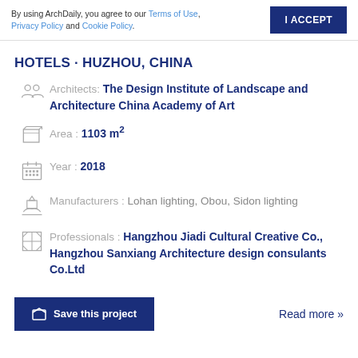By using ArchDaily, you agree to our Terms of Use, Privacy Policy and Cookie Policy.
I ACCEPT
HOTELS · HUZHOU, CHINA
Architects: The Design Institute of Landscape and Architecture China Academy of Art
Area : 1103 m²
Year : 2018
Manufacturers : Lohan lighting, Obou, Sidon lighting
Professionals : Hangzhou Jiadi Cultural Creative Co., Hangzhou Sanxiang Architecture design consulants Co.Ltd
Save this project
Read more »